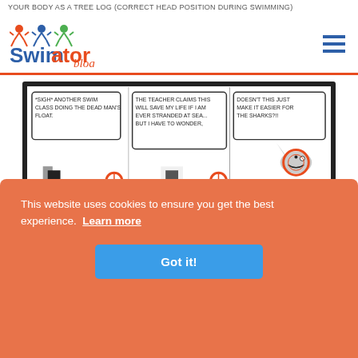YOUR BODY AS A TREE LOG (CORRECT HEAD POSITION DURING SWIMMING)
[Figure (logo): Swimator Blog logo with colorful swimming figures and blue/orange text]
[Figure (illustration): Three-panel comic strip by Brother's Keeper Comic showing a person doing dead man's float in a pool. Panel 1: character thinks '*Sigh* Another swim class doing the dead man's float.' Panel 2: 'The teacher claims this will save my life if I am ever stranded at sea... but I have to wonder,' Panel 3: 'Doesn't this just make it easier for the sharks?!!' with a shark shown.]
by Brother's Keeper Comic NOTE: Dead man's float is actually performed on your stomach
3) Dead Man's Float
This website uses cookies to ensure you get the best experience. Learn more
Got it!